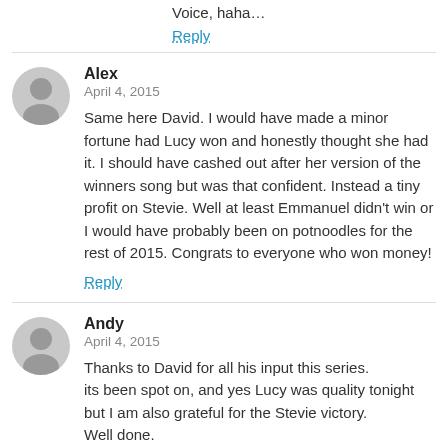Voice, haha…
Reply
Alex
April 4, 2015
Same here David. I would have made a minor fortune had Lucy won and honestly thought she had it. I should have cashed out after her version of the winners song but was that confident. Instead a tiny profit on Stevie. Well at least Emmanuel didn't win or I would have probably been on potnoodles for the rest of 2015. Congrats to everyone who won money!
Reply
Andy
April 4, 2015
Thanks to David for all his input this series.
its been spot on, and yes Lucy was quality tonight but I am also grateful for the Stevie victory.
Well done.

General election up next, Bring it on.